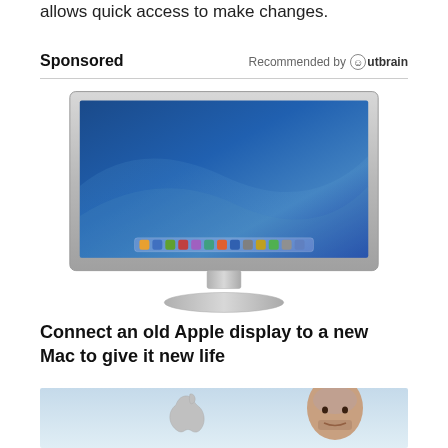allows quick access to make changes.
Sponsored
Recommended by Outbrain
[Figure (photo): Apple Cinema Display monitor with blue desktop wallpaper and dock visible at bottom]
Connect an old Apple display to a new Mac to give it new life
[Figure (photo): Light blue background with Apple logo and a bald man's face partially visible on the right side]